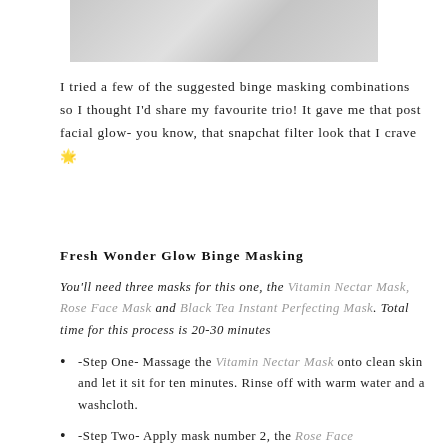[Figure (photo): Partial view of a face or skincare image, gray marble-like texture, cropped at top]
I tried a few of the suggested binge masking combinations so I thought I'd share my favourite trio! It gave me that post facial glow- you know, that snapchat filter look that I crave 🌟
Fresh Wonder Glow Binge Masking
You'll need three masks for this one, the Vitamin Nectar Mask, Rose Face Mask and Black Tea Instant Perfecting Mask. Total time for this process is 20-30 minutes
-Step One- Massage the Vitamin Nectar Mask onto clean skin and let it sit for ten minutes. Rinse off with warm water and a washcloth.
-Step Two- Apply mask number 2, the Rose Face